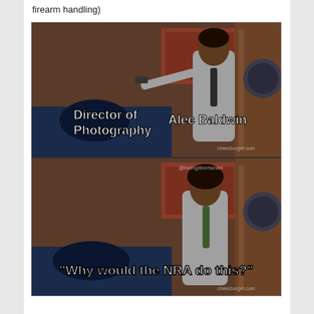firearm handling)
[Figure (photo): A two-panel meme using a TV show still. Top panel: a man in a grey suit pointing a gun at someone off-screen, labeled 'Director of Photography' and 'Alec Baldwin'. Bottom panel: the same man standing alone looking confused, with caption text 'Why would the NRA do this?'. Watermarks: 'cheezburger.com' and '@beinglibert​arian'.]